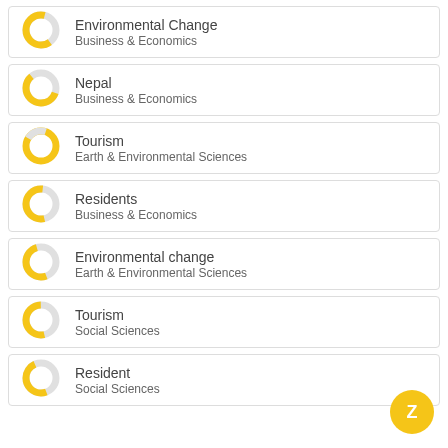Environmental Change
Business & Economics
Nepal
Business & Economics
Tourism
Earth & Environmental Sciences
Residents
Business & Economics
Environmental change
Earth & Environmental Sciences
Tourism
Social Sciences
Resident
Social Sciences